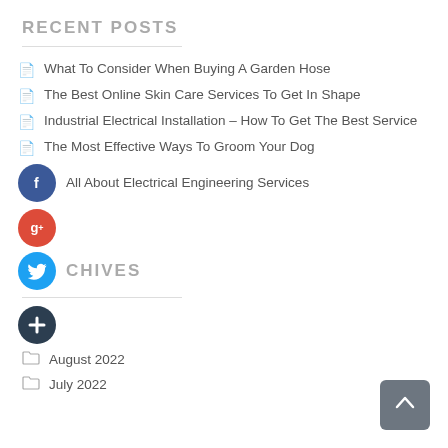RECENT POSTS
What To Consider When Buying A Garden Hose
The Best Online Skin Care Services To Get In Shape
Industrial Electrical Installation – How To Get The Best Service
The Most Effective Ways To Groom Your Dog
All About Electrical Engineering Services
[Figure (other): Google+ social share button (red circle with g+)]
CHIVES
[Figure (other): Dark plus/share button circle]
August 2022
July 2022